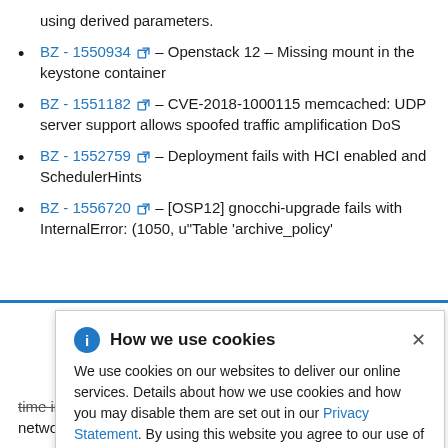using derived parameters.
BZ - 1550934 – Openstack 12 – Missing mount in the keystone container
BZ - 1551182 – CVE-2018-1000115 memcached: UDP server support allows spoofed traffic amplification DoS
BZ - 1552759 – Deployment fails with HCI enabled and SchedulerHints
BZ - 1556720 – [OSP12] gnocchi-upgrade fails with InternalError: (1050, u"Table 'archive_policy'
[Figure (screenshot): Cookie consent dialog overlay with title 'How we use cookies', an info icon, a close (x) button, body text about cookie usage and a Privacy Statement link.]
time interfaces set under ovs bridges have no network connectivity.